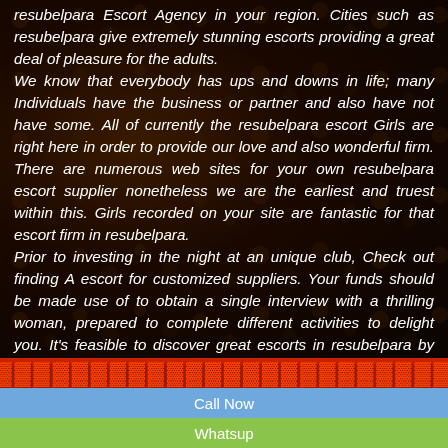resubelpara Escort Agency in your region. Cities such as resubelpara give extremely stunning escorts providing a great deal of pleasure for the adults. We know that everybody has ups and downs in life; many Individuals have the business or partner and also have not have some. All of currently the resubelpara escort Girls are right here in order to provide our love and also wonderful firm. There are numerous web sites for your own resubelpara escort supplier nonetheless we are the earliest and truest within this. Girls recorded on your site are fantastic for that escort firm in resubelpara. Prior to investing in the night at an unique club, Check out finding A escort for customized suppliers. Your funds should be made use of to obtain a single interview with a thrilling woman, prepared to complete different activities to delight you. It's feasible to discover great escorts in resubelpara by hunting online.
Call Now
Whatsup